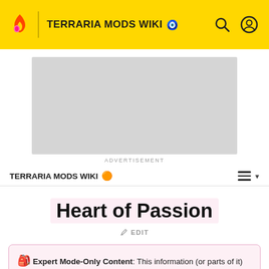TERRARIA MODS WIKI
[Figure (screenshot): Advertisement placeholder box]
ADVERTISEMENT
TERRARIA MODS WIKI
Heart of Passion
✏ EDIT
🎒 Expert Mode-Only Content: This information (or parts of it) applies only to Expert mode and Expert mode worlds.